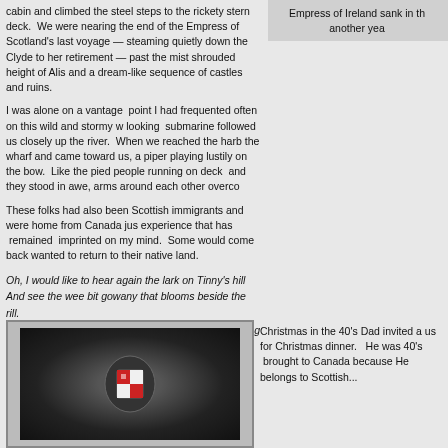cabin and climbed the steel steps to the rickety stern deck.  We were nearing the end of the Empress of Scotland's last voyage — steaming quietly down the Clyde to her retirement — past the mist shrouded height of Alis and a dream-like sequence of castles and ruins.
Empress of Ireland sank in th another yea
I was alone on a vantage  point I had frequented often on this wild and stormy w looking  submarine followed us closely up the river.  When we reached the harb the wharf and came toward us, a piper playing lustily on the bow.  Like the pied people running on deck  and they stood in awe, arms around each other overco
These folks had also been Scottish immigrants and were home from Canada jus experience that has  remained  imprinted on my mind.  Some would come back wanted to return to their native land.
Oh, I would like to hear again the lark on Tinny's hill
And see the wee bit gowany that blooms beside the rill.
Like banished Swill who view afar his Alps with longing e'e.
I gaze upon the morning star that shines on my country.
[Figure (photo): A dark circular badge or medallion with a red and white heraldic shield design, shown against a dark textured background]
Christmas in the 40's Dad invited a us for Christmas dinner.  He was 40's  brought to Canada because He belongs to Scottish...